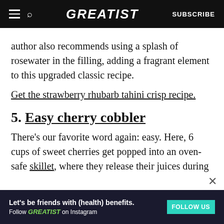GREATIST | SUBSCRIBE
author also recommends using a splash of rosewater in the filling, adding a fragrant element to this upgraded classic recipe.
Get the strawberry rhubarb tahini crisp recipe.
5. Easy cherry cobbler
There’s our favorite word again: easy. Here, 6 cups of sweet cherries get popped into an oven-safe skillet, where they release their juices during
[Figure (screenshot): Advertisement banner: dark background with text 'Let’s be friends with (health) benefits. Follow GREATIST on Instagram' and a teal FOLLOW US button.]